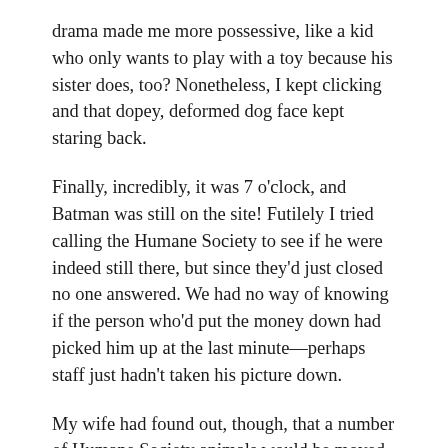drama made me more possessive, like a kid who only wants to play with a toy because his sister does, too? Nonetheless, I kept clicking and that dopey, deformed dog face kept staring back.
Finally, incredibly, it was 7 o'clock, and Batman was still on the site! Futilely I tried calling the Humane Society to see if he were indeed still there, but since they'd just closed no one answered. We had no way of knowing if the person who'd put the money down had picked him up at the last minute—perhaps staff just hadn't taken his picture down.
My wife had found out, though, that a number of Humane Society animals would be moved to a local pet store early the next morning for a pet adoption promotion. They didn't know if Batman would be one of